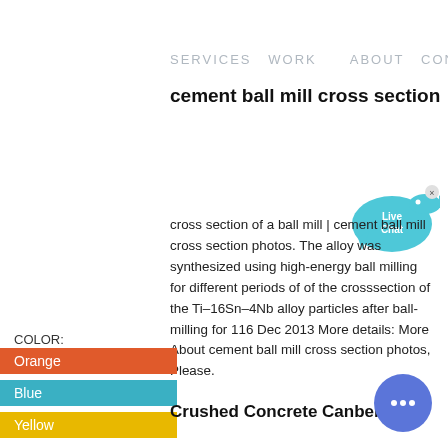SERVICES  WORK  ABOUT  CONTACT
cement ball mill cross section
[Figure (illustration): Live Chat button — cyan speech bubble with fish icon and 'Live Chat' text, with an X close button]
cross section of a ball mill | cement ball mill cross section photos. The alloy was synthesized using high-energy ball milling for different periods of of the crosssection of the Ti–16Sn–4Nb alloy particles after ball-milling for 116 Dec 2013 More details: More About cement ball mill cross section photos, Please.
COLOR:
Orange
Blue
Yellow
[Figure (illustration): Round blue chat button with three dots (ellipsis) icon]
Crushed Concrete Canberra